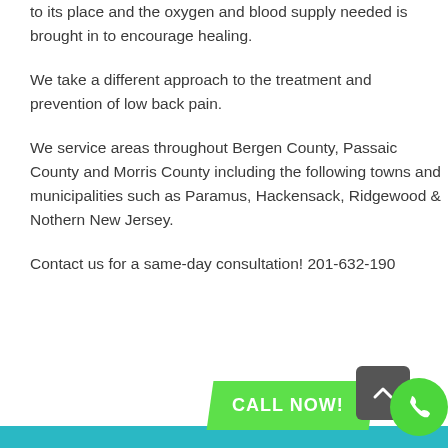to its place and the oxygen and blood supply needed is brought in to encourage healing.
We take a different approach to the treatment and prevention of low back pain.
We service areas throughout Bergen County, Passaic County and Morris County including the following towns and municipalities such as Paramus, Hackensack, Ridgewood & Nothern New Jersey.
Contact us for a same-day consultation! 201-632-190
[Figure (other): Green 'CALL NOW!' button overlay at bottom of page, alongside a dark gray scroll-up arrow button and a green phone icon circle button]